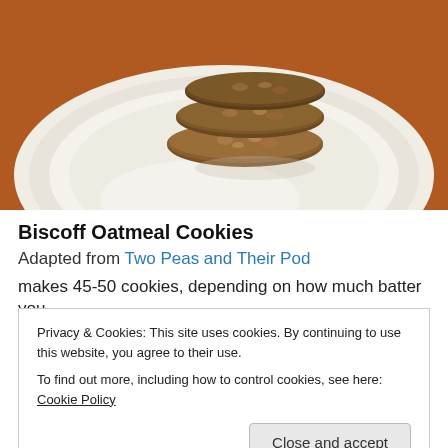[Figure (photo): Stack of oatmeal cookies on a white plate, set on a brown wooden surface. Photo taken from slightly above.]
Biscoff Oatmeal Cookies
Adapted from Two Peas and Their Pod
makes 45-50 cookies, depending on how much batter you
Privacy & Cookies: This site uses cookies. By continuing to use this website, you agree to their use.
To find out more, including how to control cookies, see here: Cookie Policy
Close and accept